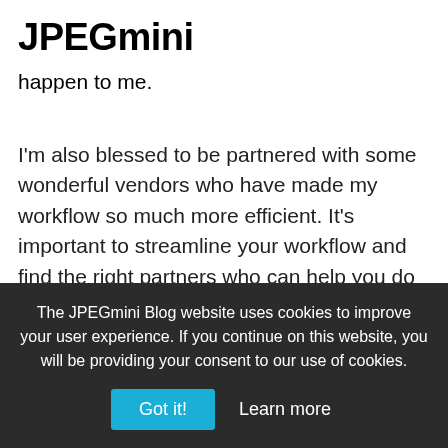JPEGmini
happen to me.
I'm also blessed to be partnered with some wonderful vendors who have made my workflow so much more efficient. It's important to streamline your workflow and find the right partners who can help you do that.
You've won some awesome awards and are recognized throughout the world, can you pinpoint a turning point in your career where you
The JPEGmini Blog website uses cookies to improve your user experience. If you continue on this website, you will be providing your consent to our use of cookies.